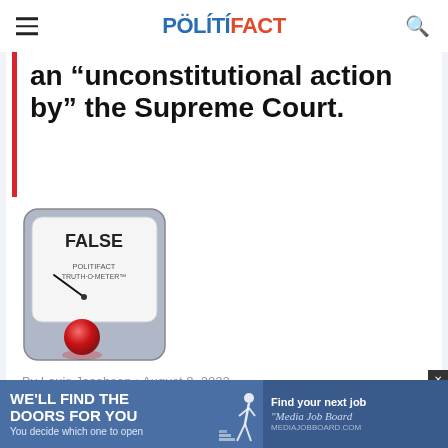POLITIFACT
an “unconstitutional action by” the Supreme Court.
[Figure (illustration): PolitiFact Truth-O-Meter gauge showing FALSE rating with red indicator light at the bottom left]
By Louis Jacobson • August 8, 2022
[Figure (infographic): Advertisement banner: left side blue background reading WE’LL FIND THE DOORS FOR YOU, You decide which one to open, with figure of person; right side darker blue reading Find your next job, Media Job Board]